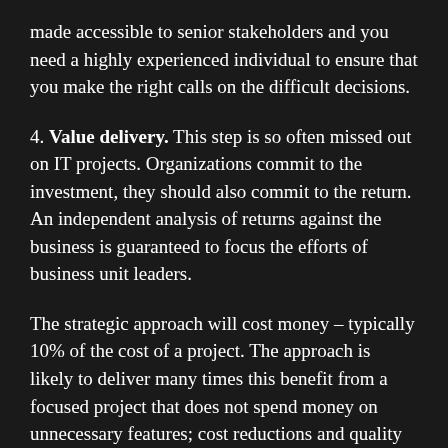made accessible to senior stakeholders and you need a highly experienced individual to ensure that you make the right calls on the difficult decisions.
4. Value delivery. This step is so often missed out on IT projects. Organizations commit to the investment, they should also commit to the return. An independent analysis of returns against the business is guaranteed to focus the efforts of business unit leaders.
The strategic approach will cost money – typically 10% of the cost of a project. The approach is likely to deliver many times this benefit from a focused project that does not spend money on unnecessary features; cost reductions and quality improvements from best practice processes; and more business value delivered at the end of the project.